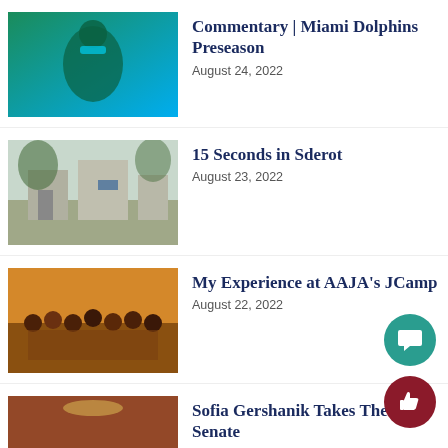[Figure (photo): Miami Dolphins player in teal uniform throwing a football]
Commentary | Miami Dolphins Preseason
August 24, 2022
[Figure (photo): Outdoor street scene with buildings, possibly in Sderot, Israel]
15 Seconds in Sderot
August 23, 2022
[Figure (photo): Group photo of students at AAJA's JCamp]
My Experience at AAJA's JCamp
August 22, 2022
[Figure (photo): Group of people in formal attire in an ornate room, possibly a senate chamber]
Sofia Gershanik Takes The Senate
August 21, 2022
[Figure (logo): Raider Voice 2022-2023 logo]
Editorial | Your Back to School Message from The Raider Voice
August 20, 2022